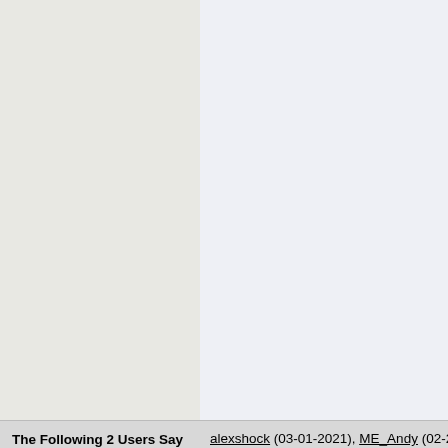The Following 2 Users Say Thank You to RustyLugNut For This Useful Post:
alexshock (03-01-2021), ME_Andy (02-28-...
Today
Popular topics
Other popular topics in this forum...
[Figure (photo): Green tennis ball close-up with magnifying glass, showing partial text overlay '1 of', 't', and date '01-17-2013']